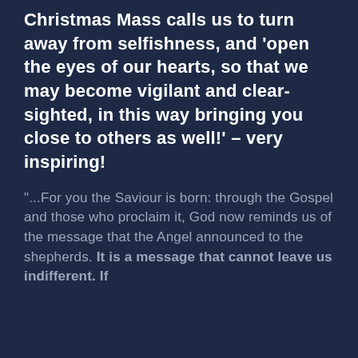Christmas Mass calls us to turn away from selfishness, and 'open the eyes of our hearts, so that we may become vigilant and clear-sighted, in this way bringing you close to others as well!' – very inspiring!
"...For you the Saviour is born: through the Gospel and those who proclaim it, God now reminds us of the message that the Angel announced to the shepherds. It is a message that cannot leave us indifferent. If